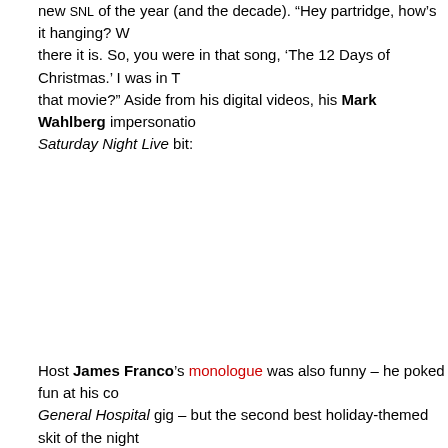new SNL of the year (and the decade). "Hey partridge, how's it hanging? W... there it is. So, you were in that song, 'The 12 Days of Christmas.' I was in T... that movie?" Aside from his digital videos, his Mark Wahlberg impersonatio... Saturday Night Live bit:
Host James Franco's monologue was also funny – he poked fun at his co... General Hospital gig – but the second best holiday-themed skit of the night... Vincent Price's 1954 Christmas Special. Bill Hader continues to prove hi... talented, versatile SNL stars ever, and it was fun to see Franco, who starred... James Dean, reprise the role: